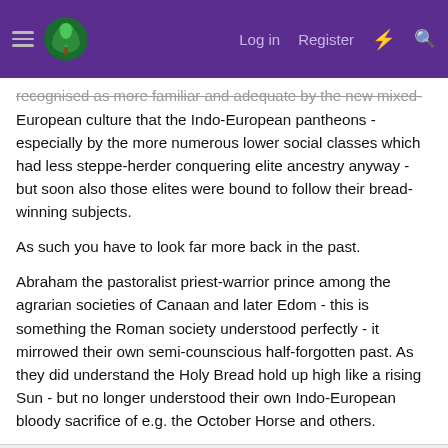Log in  Register
recognised as more familiar and adequate by the new mixed-European culture that the Indo-European pantheons - especially by the more numerous lower social classes which had less steppe-herder conquering elite ancestry anyway - but soon also those elites were bound to follow their bread-winning subjects.
As such you have to look far more back in the past.
Abraham the pastoralist priest-warrior prince among the agrarian societies of Canaan and later Edom - this is something the Roman society understood perfectly - it mirrowed their own semi-counscious half-forgotten past. As they did understand the Holy Bread hold up high like a rising Sun - but no longer understood their own Indo-European bloody sacrifice of e.g. the October Horse and others.
Rachel Port
Well-Known Member